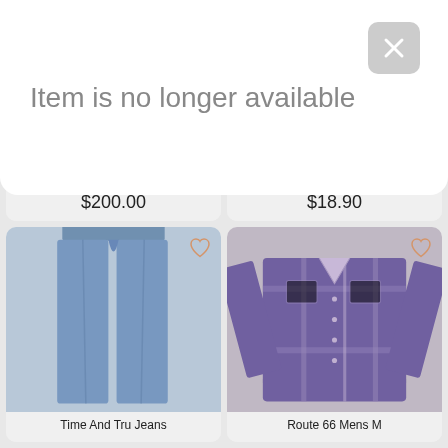Item is no longer available
[Figure (photo): Cleobella Aqua Blue Stars dress product photo showing lower portion of dress with gold heels]
Cleobella Aqua Blue Stars
$200.00
[Figure (photo): Mudd Knit Hooded Crop top product photo in sage green]
Mudd Knit Hooded Crop
$18.90
[Figure (photo): Time And Tru Jeans product photo showing light wash blue jeans on hanger]
Time And Tru Jeans
[Figure (photo): Route 66 Mens M plaid flannel shirt in purple and grey laid flat]
Route 66 Mens M